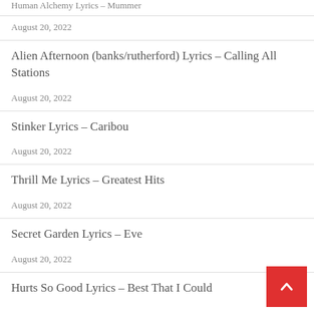Human Alchemy Lyrics – Mummer
August 20, 2022
Alien Afternoon (banks/rutherford) Lyrics – Calling All Stations
August 20, 2022
Stinker Lyrics – Caribou
August 20, 2022
Thrill Me Lyrics – Greatest Hits
August 20, 2022
Secret Garden Lyrics – Eve
August 20, 2022
Hurts So Good Lyrics – Best That I Could